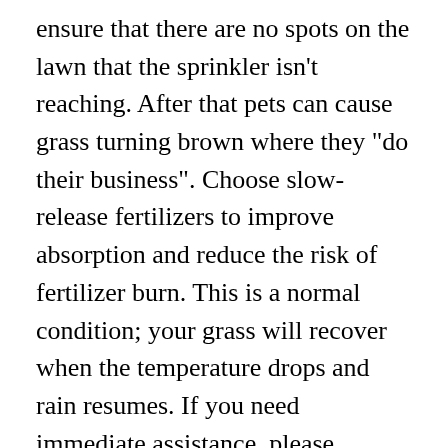ensure that there are no spots on the lawn that the sprinkler isn't reaching. After that pets can cause grass turning brown where they "do their business". Choose slow-release fertilizers to improve absorption and reduce the risk of fertilizer burn. This is a normal condition; your grass will recover when the temperature drops and rain resumes. If you need immediate assistance, please contact HAR.com Support. Check your soil pH is with a home soil testing pH kit available at your local home center or nursery for about $10 (view example on Amazon). You love your furry friends, but canine and feline urine contains salts that can kill grass and leave behind round, brown dead patches that aren't likely to go green on their